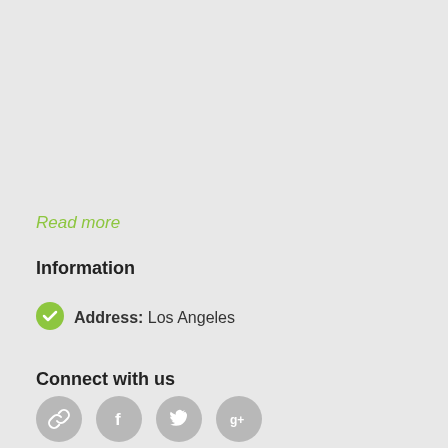Read more
Information
Address: Los Angeles
Connect with us
[Figure (other): Four circular social media icon buttons (link, facebook, twitter, google+) in gray]